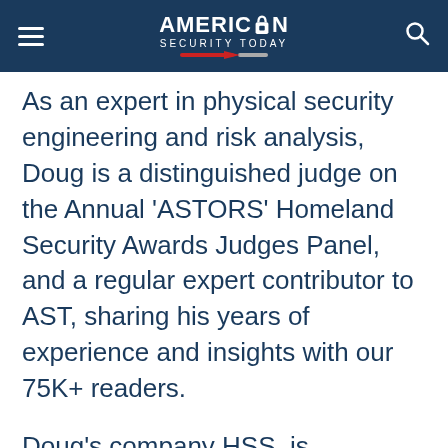[Figure (logo): American Security Today header bar with hamburger menu icon on left, logo in center, and search icon on right. Dark navy background.]
As an expert in physical security engineering and risk analysis, Doug is a distinguished judge on the Annual ‘ASTORS’ Homeland Security Awards Judges Panel, and a regular expert contributor to AST, sharing his years of experience and insights with our 75K+ readers.
Doug’s company HSS, is